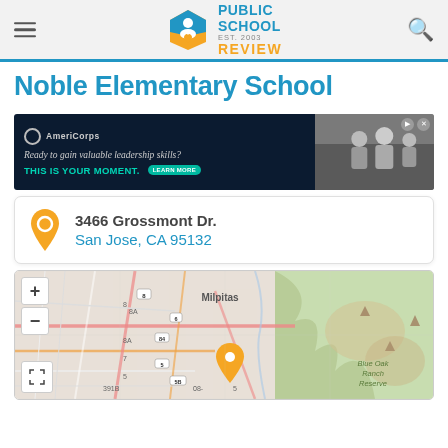Public School Review — EST. 2003
Noble Elementary School
[Figure (other): AmeriCorps advertisement banner: dark navy background with AmeriCorps logo, text 'Ready to gain valuable leadership skills? THIS IS YOUR MOMENT. LEARN MORE' and a photo of people on the right side.]
3466 Grossmont Dr.
San Jose, CA 95132
[Figure (map): Interactive map showing San Jose area with Milpitas label, road networks, green areas including Blue Oak Ranch Reserve, and an orange location pin marker indicating the school location.]